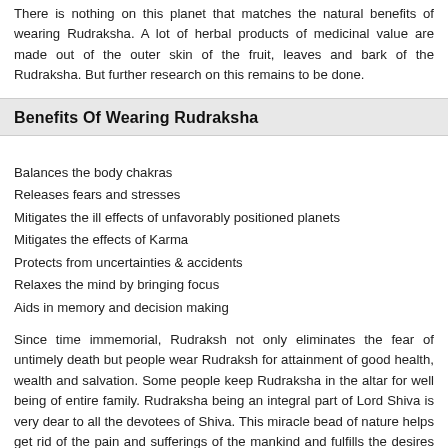There is nothing on this planet that matches the natural benefits of wearing Rudraksha. A lot of herbal products of medicinal value are made out of the outer skin of the fruit, leaves and bark of the Rudraksha. But further research on this remains to be done.
Benefits Of Wearing Rudraksha
Balances the body chakras
Releases fears and stresses
Mitigates the ill effects of unfavorably positioned planets
Mitigates the effects of Karma
Protects from uncertainties & accidents
Relaxes the mind by bringing focus
Aids in memory and decision making
Since time immemorial, Rudraksh not only eliminates the fear of untimely death but people wear Rudraksh for attainment of good health, wealth and salvation. Some people keep Rudraksha in the altar for well being of entire family. Rudraksha being an integral part of Lord Shiva is very dear to all the devotees of Shiva. This miracle bead of nature helps get rid of the pain and sufferings of the mankind and fulfills the desires and wishes of the wearer.